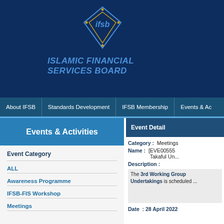[Figure (logo): IFSB logo — stylized diamond/kite shape with Arabic lettering and 'ifsb' text]
ISLAMIC FINANCIAL SERVICES BOARD
About IFSB | Standards Development | IFSB Membership | Events & Ac...
Events & Activities
Event Category
ALL
Awareness Programme
IFSB-FIS Workshop
Meetings
Event Detail
Category : Meetings
Name : [EVE00555... Takaful Un...
Description :
The 3rd Working Group Undertakings is scheduled ...
Date : 28 April 2022